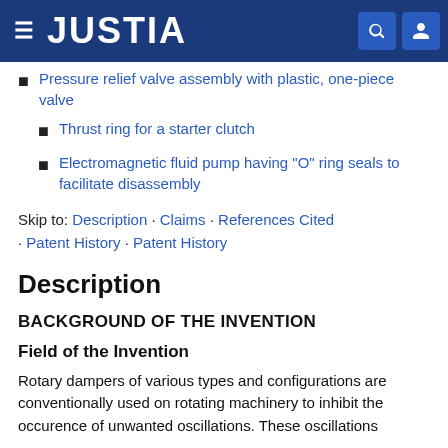JUSTIA
Pressure relief valve assembly with plastic, one-piece valve
Thrust ring for a starter clutch
Electromagnetic fluid pump having "O" ring seals to facilitate disassembly
Skip to: Description · Claims · References Cited · Patent History · Patent History
Description
BACKGROUND OF THE INVENTION
Field of the Invention
Rotary dampers of various types and configurations are conventionally used on rotating machinery to inhibit the occurence of unwanted oscillations. These oscillations